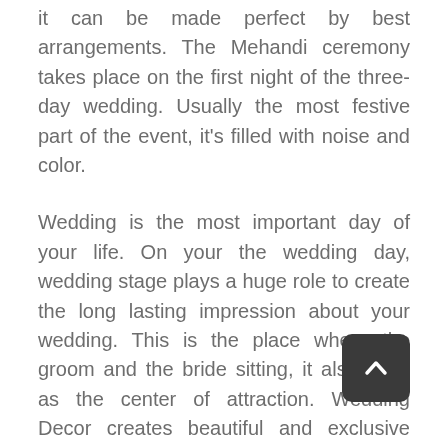it can be made perfect by best arrangements. The Mehandi ceremony takes place on the first night of the three-day wedding. Usually the most festive part of the event, it's filled with noise and color.
Wedding is the most important day of your life. On your the wedding day, wedding stage plays a huge role to create the long lasting impression about your wedding. This is the place where the groom and the bride sitting, it also used as the center of attraction. Wedding Decor creates beautiful and exclusive wedding stage designs that are aligned to the colours and theme of wedding event.
We can also manufacture as per color and shape like round ,square, half moon We manufacture pillars furnitures backdrops and all other wedding decoration items for decorate stage sets.Our stage decoration items will make wedding stage very beautiful. Maharaja Wedding Stage  are totally folding and very easy to assemble.
Features: